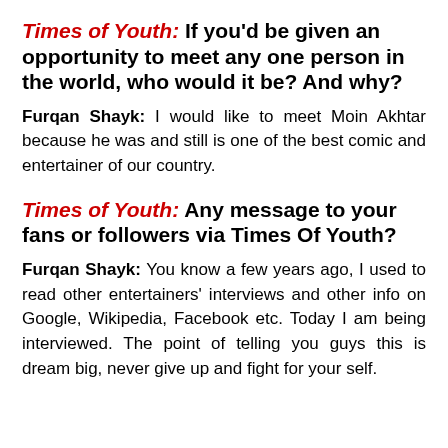Times of Youth: If you'd be given an opportunity to meet any one person in the world, who would it be? And why?
Furqan Shayk: I would like to meet Moin Akhtar because he was and still is one of the best comic and entertainer of our country.
Times of Youth: Any message to your fans or followers via Times Of Youth?
Furqan Shayk: You know a few years ago, I used to read other entertainers' interviews and other info on Google, Wikipedia, Facebook etc. Today I am being interviewed. The point of telling you guys this is dream big, never give up and fight for your self.